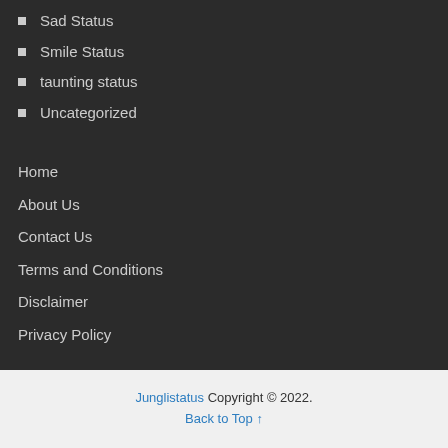Sad Status
Smile Status
taunting status
Uncategorized
Home
About Us
Contact Us
Terms and Conditions
Disclaimer
Privacy Policy
Junglistatus Copyright © 2022. Back to Top ↑